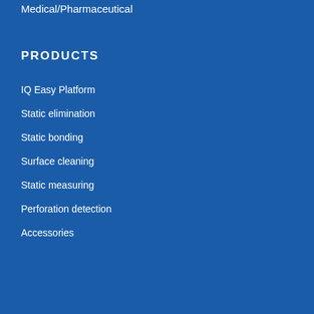Medical/Pharmaceutical
PRODUCTS
IQ Easy Platform
Static elimination
Static bonding
Surface cleaning
Static measuring
Perforation detection
Accessories